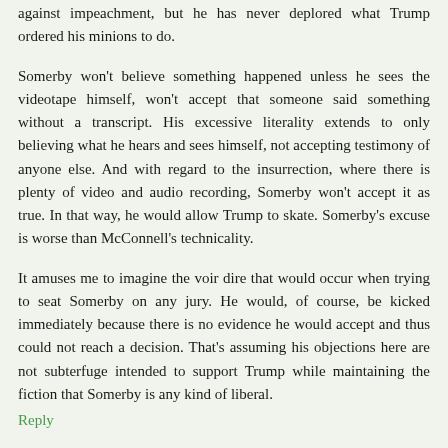against impeachment, but he has never deplored what Trump ordered his minions to do.
Somerby won't believe something happened unless he sees the videotape himself, won't accept that someone said something without a transcript. His excessive literality extends to only believing what he hears and sees himself, not accepting testimony of anyone else. And with regard to the insurrection, where there is plenty of video and audio recording, Somerby won't accept it as true. In that way, he would allow Trump to skate. Somerby's excuse is worse than McConnell's technicality.
It amuses me to imagine the voir dire that would occur when trying to seat Somerby on any jury. He would, of course, be kicked immediately because there is no evidence he would accept and thus could not reach a decision. That's assuming his objections here are not subterfuge intended to support Trump while maintaining the fiction that Somerby is any kind of liberal.
Reply
Erlinda Kaes  March 3, 2021 at 9:08 AM